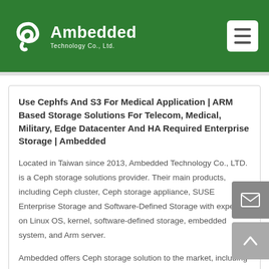Ambedded Technology Co., Ltd.
Use Cephfs And S3 For Medical Application | ARM Based Storage Solutions For Telecom, Medical, Military, Edge Datacenter And HA Required Enterprise Storage | Ambedded
Located in Taiwan since 2013, Ambedded Technology Co., LTD. is a Ceph storage solutions provider. Their main products, including Ceph cluster, Ceph storage appliance, SUSE Enterprise Storage and Software-Defined Storage with expertise on Linux OS, kernel, software-defined storage, embedded system, and Arm server.
Ambedded offers Ceph storage solution to the market, including Ceph storage Appliance on ARM microservers and SUSE Enterprise Storage Appliance on ARM microservers. In addition to Ceph solutions